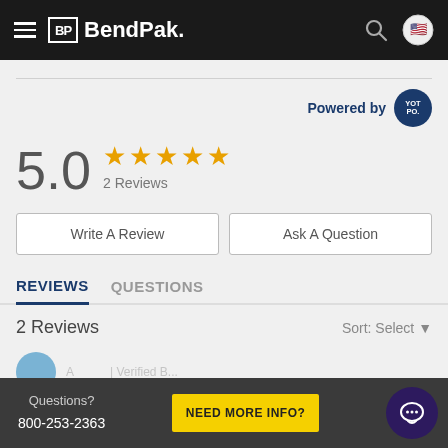BendPak navigation bar
Powered by YOTPO
5.0 ★★★★★ 2 Reviews
Write A Review
Ask A Question
REVIEWS  QUESTIONS
2 Reviews   Sort: Select ▼
Questions? 800-253-2363  NEED MORE INFO?